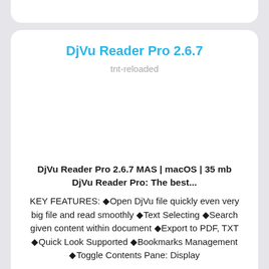DjVu Reader Pro 2.6.7
tnt-reloaded
DjVu Reader Pro 2.6.7 MAS | macOS | 35 mb
DjVu Reader Pro: The best...
KEY FEATURES: ◆Open DjVu file quickly even very big file and read smoothly ◆Text Selecting ◆Search given content within document ◆Export to PDF, TXT ◆Quick Look Supported ◆Bookmarks Management ◆Toggle Contents Pane: Display